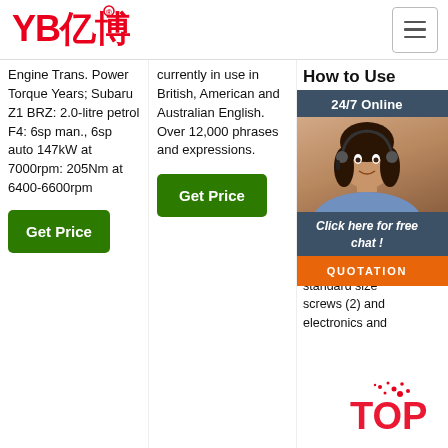[Figure (logo): YB亿博 logo in red text with registered trademark symbol]
[Figure (other): Hamburger menu icon button in top right corner]
Engine Trans. Power Torque Years; Subaru Z1 BRZ: 2.0-litre petrol F4: 6sp man., 6sp auto 147kW at 7000rpm: 205Nm at 6400-6600rpm
Get Price
currently in use in British, American and Australian English. Over 12,000 phrases and expressions.
Get Price
How to Use Them
Firs imp war righ scr you are of F whi to 4 the is the largest. Though most often you'll come across sizes 1 and 2, which fit most standard size screws (2) and electronics and
[Figure (photo): Customer service representative woman with headset, chat widget showing 24/7 Online, Click here for free chat!, and QUOTATION button]
[Figure (other): TOP watermark text in red with splatter dots]